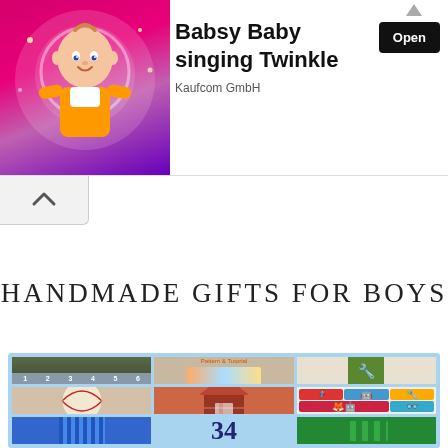[Figure (other): Advertisement banner: Babsy Baby singing Twinkle by Kaufcom GmbH, with animated baby character on pink/purple background and Open button]
HANDMADE GIFTS FOR BOYS
[Figure (infographic): Grid of handmade gift photos for boys: car roll-up mat, kid's sleeping bag pattern & tutorial, toy tool belt, baseball, fabric barn, monster/robot plush toys, fabric items, lego-style item. Number 34 visible on center-bottom.]